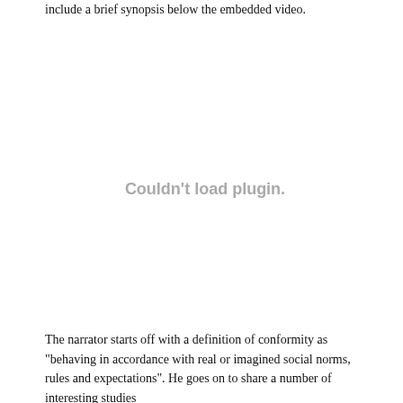include a brief synopsis below the embedded video.
[Figure (other): Couldn't load plugin. — placeholder area for an embedded video plugin that failed to load]
The narrator starts off with a definition of conformity as "behaving in accordance with real or imagined social norms, rules and expectations". He goes on to share a number of interesting studies